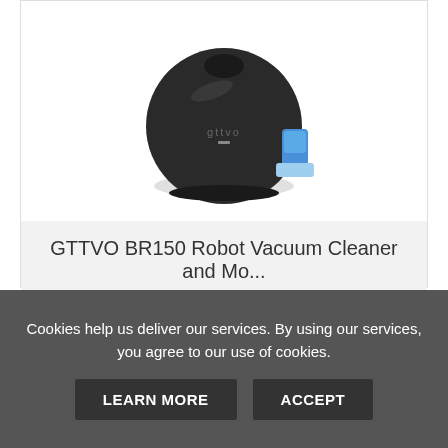[Figure (photo): GTTVO BR150 robot vacuum cleaner and mop, black circular device with blue water tank attachment, on a white background]
GTTVO BR150 Robot Vacuum Cleaner and Mo...
$169.99 $68.99
VIEW
BUY NOW
Cookies help us deliver our services. By using our services, you agree to our use of cookies.
LEARN MORE
ACCEPT